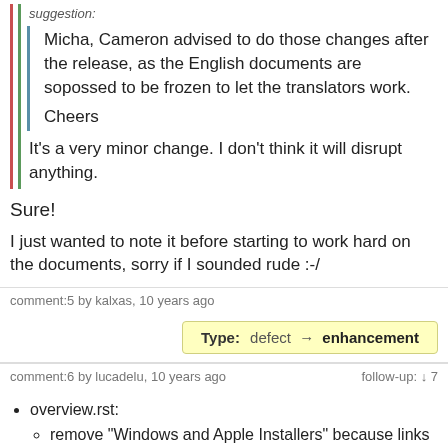suggestion:
Micha, Cameron advised to do those changes after the release, as the English documents are sopossed to be frozen to let the translators work.
Cheers
It's a very minor change. I don't think it will disrupt anything.
Sure!
I just wanted to note it before starting to work hard on the documents, sorry if I sounded rude :-/
comment:5 by kalxas, 10 years ago
Type: defect → enhancement
comment:6 by lucadelu, 10 years ago    follow-up: ↓ 7
overview.rst:
remove "Windows and Apple Installers" because links are broken